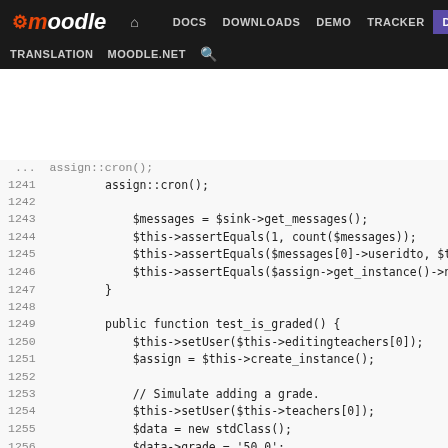moodle | DOCS DOWNLOADS DEMO TRACKER DEV | TRANSLATION MOODLE.NET
[Figure (screenshot): Moodle developer documentation website navigation bar with logo, nav links (DOCS, DOWNLOADS, DEMO, TRACKER, DEV highlighted), and secondary nav (TRANSLATION, MOODLE.NET, search icon)]
Code view of PHP test file lines 1241-1266 showing assign::cron(), $messages, assertEquals calls, test_is_graded(), test_can_grade() methods